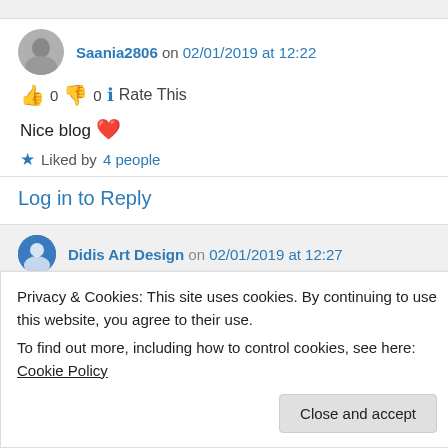Saania2806 on 02/01/2019 at 12:22
👍 0 👎 0 ℹ Rate This
Nice blog ❤️
★ Liked by 4 people
Log in to Reply
Didis Art Design on 02/01/2019 at 12:27
Privacy & Cookies: This site uses cookies. By continuing to use this website, you agree to their use.
To find out more, including how to control cookies, see here: Cookie Policy
Close and accept